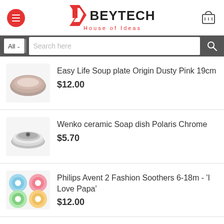[Figure (logo): Beytech House of Ideas logo with hamburger menu and cart icon]
[Figure (screenshot): Search bar with All dropdown and search input]
Easy Life Soup plate Origin Dusty Pink 19cm $12.00
Wenko ceramic Soap dish Polaris Chrome $5.70
Philips Avent 2 Fashion Soothers 6-18m - 'I Love Papa' $12.00
BEST SELLING
Partial product item (truncated)